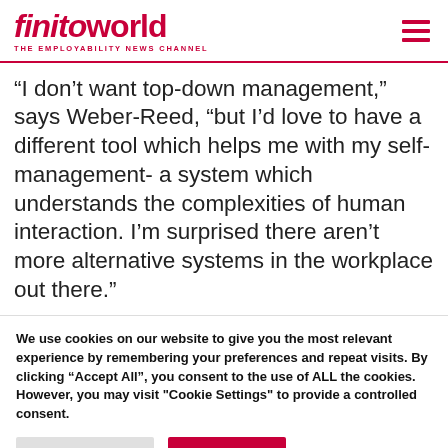finitoworld THE EMPLOYABILITY NEWS CHANNEL
“I don’t want top-down management,” says Weber-Reed, “but I’d love to have a different tool which helps me with my self-management- a system which understands the complexities of human interaction. I’m surprised there aren’t more alternative systems in the workplace out there.”
We use cookies on our website to give you the most relevant experience by remembering your preferences and repeat visits. By clicking “Accept All”, you consent to the use of ALL the cookies. However, you may visit "Cookie Settings" to provide a controlled consent.